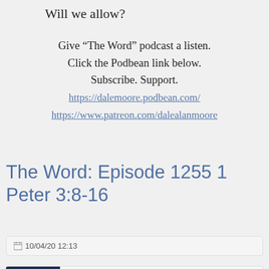Will we allow?
Give “The Word” podcast a listen. Click the Podbean link below. Subscribe. Support.
https://dalemoore.podbean.com/
https://www.patreon.com/dalealanmoore
The Word: Episode 1255 1 Peter 3:8-16
10/04/20 12:13
[Figure (screenshot): Podbean podcast widget showing The Word with Dale Moore, episode The Word: Episode 12... with subscribe, download and share icons, and a scroll-to-top button]